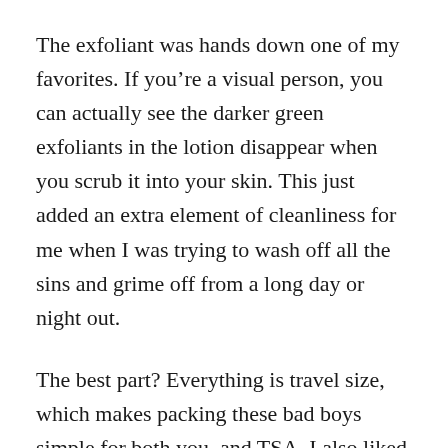The exfoliant was hands down one of my favorites. If you're a visual person, you can actually see the darker green exfoliants in the lotion disappear when you scrub it into your skin. This just added an extra element of cleanliness for me when I was trying to wash off all the sins and grime off from a long day or night out.
The best part? Everything is travel size, which makes packing these bad boys simple for both you, and TSA. I also liked that I could try lots of different products without committing to a full-size bottle if I didn't like it.